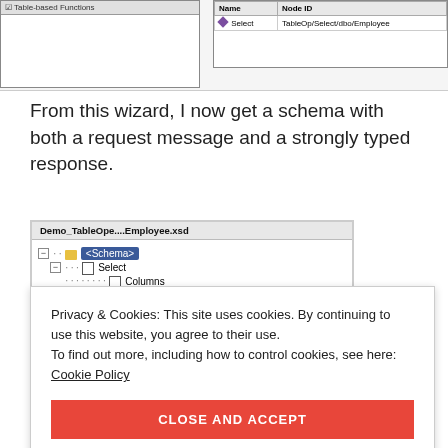[Figure (screenshot): Top portion of a UI screenshot showing a table-based functions panel on the left and a table with Name/Node ID columns on the right. The right table shows a row with a purple diamond icon, 'Select' in the Name column, and 'TableOp/Select/dbo/Employee' in the Node ID column.]
From this wizard, I now get a schema with both a request message and a strongly typed response.
[Figure (screenshot): Schema tree view screenshot titled 'Demo_TableOpe....Employee.xsd' showing a tree with: <Schema> (highlighted in blue) at root, Select node with Columns and Query children, and SelectResponse node.]
Privacy & Cookies: This site uses cookies. By continuing to use this website, you agree to their use.
To find out more, including how to control cookies, see here: Cookie Policy
CLOSE AND ACCEPT